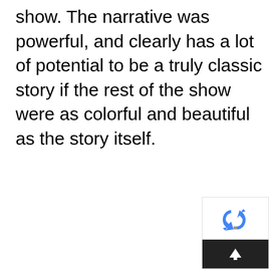show. The narrative was powerful, and clearly has a lot of potential to be a truly classic story if the rest of the show were as colorful and beautiful as the story itself.
[Figure (other): reCAPTCHA badge widget in the bottom-right corner, showing the reCAPTCHA logo (blue and grey recycling arrows) above a dark bar with an up-arrow scroll-to-top button.]